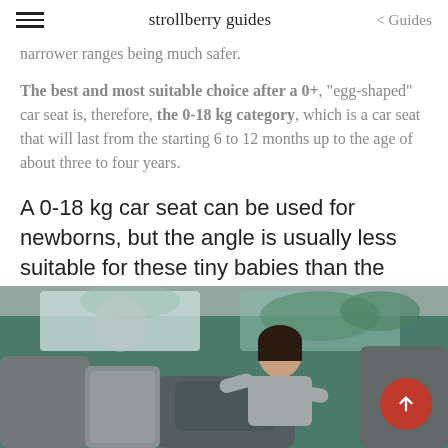strollberry guides   < Guides
narrower ranges being much safer.
The best and most suitable choice after a 0+, "egg-shaped" car seat is, therefore, the 0-18 kg category, which is a car seat that will last from the starting 6 to 12 months up to the age of about three to four years.
A 0-18 kg car seat can be used for newborns, but the angle is usually less suitable for these tiny babies than the angle of 0+ capsules.
[Figure (photo): Photo of a woman installing or adjusting a child car seat in the back seat of a car, viewed from outside the open car door.]